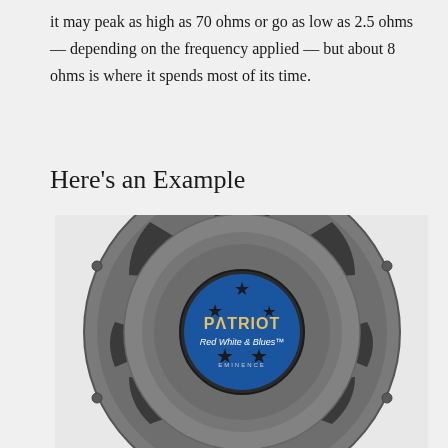it may peak as high as 70 ohms or go as low as 2.5 ohms — depending on the frequency applied — but about 8 ohms is where it spends most of its time.
Here's an Example
[Figure (photo): Rear view of an Eminence Patriot 'Red White & Blues' guitar speaker driver, gray metal basket with cutouts, showing a blue label with stars and the Patriot branding.]